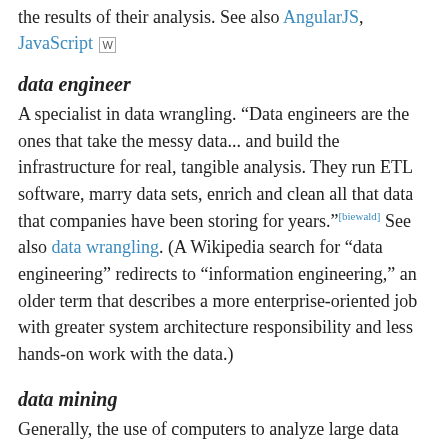the results of their analysis. See also AngularJS, JavaScript [W]
data engineer
A specialist in data wrangling. “Data engineers are the ones that take the messy data... and build the infrastructure for real, tangible analysis. They run ETL software, marry data sets, enrich and clean all that data that companies have been storing for years.”[biewald] See also data wrangling. (A Wikipedia search for “data engineering” redirects to “information engineering,” an older term that describes a more enterprise-oriented job with greater system architecture responsibility and less hands-on work with the data.)
data mining
Generally, the use of computers to analyze large data sets to look for patterns that let people make business decisions. While this sounds like much of what data science is about, popular use of the term is much older, dating back at least to the